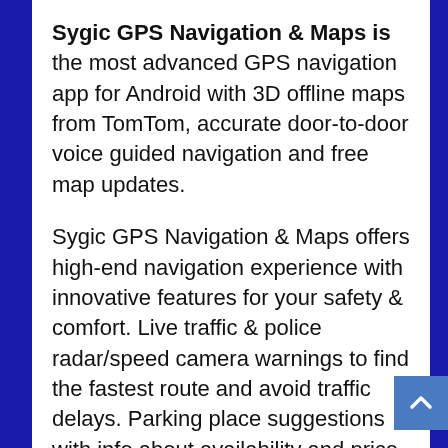Sygic GPS Navigation & Maps is the most advanced GPS navigation app for Android with 3D offline maps from TomTom, accurate door-to-door voice guided navigation and free map updates.

Sygic GPS Navigation & Maps offers high-end navigation experience with innovative features for your safety & comfort. Live traffic & police radar/speed camera warnings to find the fastest route and avoid traffic delays. Parking place suggestions with info about availability and price. Find cheapest gas based on your gas type. Tourist attractions & pedestrian navigation. Head-up Display (HUD) projects navigation onto the car's windshield. Whether you are travelling, commuting to work